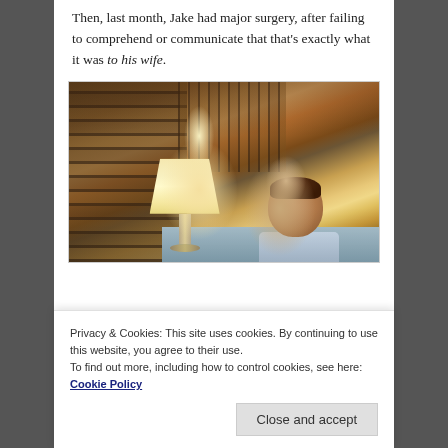Then, last month, Jake had major surgery, after failing to comprehend or communicate that that's exactly what it was to his wife.
[Figure (photo): A man lying in a hospital bed, wearing a hospital gown, with a lit bedside lamp and patterned curtains visible in the background.]
Privacy & Cookies: This site uses cookies. By continuing to use this website, you agree to their use.
To find out more, including how to control cookies, see here: Cookie Policy